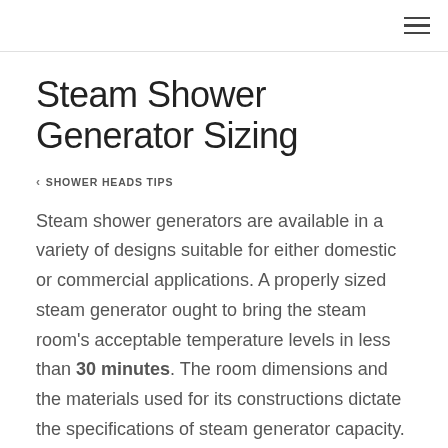☰
Steam Shower Generator Sizing
⊲ SHOWER HEADS TIPS
Steam shower generators are available in a variety of designs suitable for either domestic or commercial applications. A properly sized steam generator ought to bring the steam room's acceptable temperature levels in less than 30 minutes. The room dimensions and the materials used for its constructions dictate the specifications of steam generator capacity. The following are the steps to follow in steam shower generator sizing.